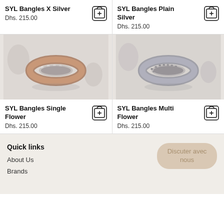SYL Bangles X Silver
Dhs. 215.00
SYL Bangles Plain Silver
Dhs. 215.00
[Figure (photo): Ring with rose gold and white enamel band with floral pattern on white background]
[Figure (photo): Ring with silver and white enamel band with floral pattern on white background]
SYL Bangles Single Flower
Dhs. 215.00
SYL Bangles Multi Flower
Dhs. 215.00
Quick links
About Us
Brands